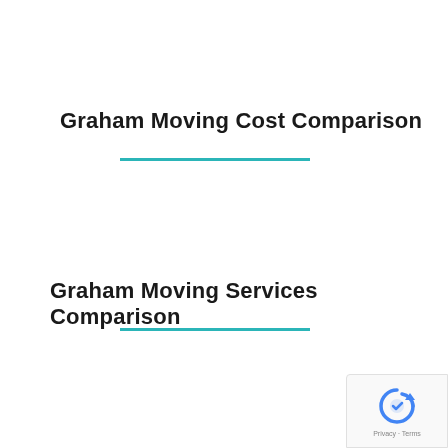Graham Moving Cost Comparison
Graham Moving Services Comparison
[Figure (logo): Google reCAPTCHA badge with Privacy and Terms text]